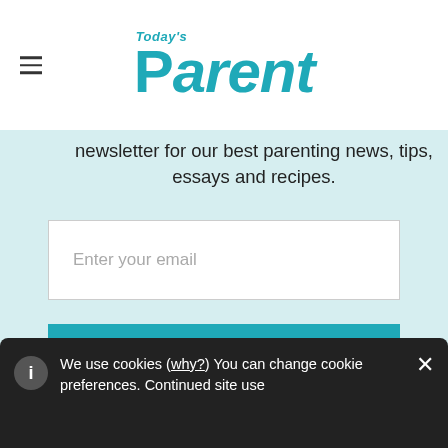Today's Parent
newsletter for our best parenting news, tips, essays and recipes.
Enter your email
Yes, I would like to receive Today's Parent's newsletter. I understand I can unsubscribe at any time. *
We use cookies (why?) You can change cookie preferences. Continued site use